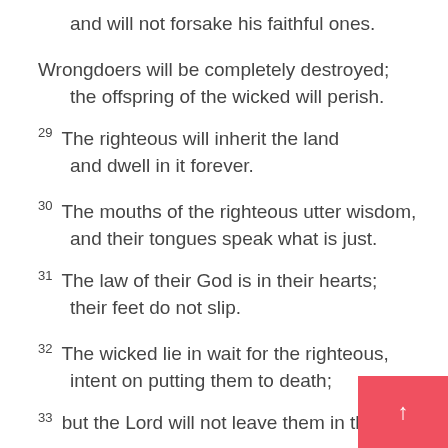and will not forsake his faithful ones.
Wrongdoers will be completely destroyed;
    the offspring of the wicked will perish.
29 The righteous will inherit the land
    and dwell in it forever.
30 The mouths of the righteous utter wisdom,
    and their tongues speak what is just.
31 The law of their God is in their hearts;
    their feet do not slip.
32 The wicked lie in wait for the righteous,
    intent on putting them to death;
33 but the Lord will not leave them in the po